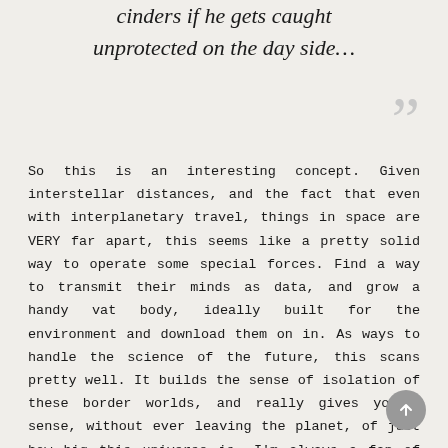cinders if he gets caught unprotected on the day side…
So this is an interesting concept. Given interstellar distances, and the fact that even with interplanetary travel, things in space are VERY far apart, this seems like a pretty solid way to operate some special forces. Find a way to transmit their minds as data, and grow a handy vat body, ideally built for the environment and download them on in. As ways to handle the science of the future, this scans pretty well. It builds the sense of isolation of these border worlds, and really gives you a sense, without ever leaving the planet, of just how big this universe is. I'm always a fan of anything which can communicate by showing instead of telling, and there were a lot of subtle touches like that which helped world build without having to go anywhere outside the current story. I also got the sense that the series is going to start to take a